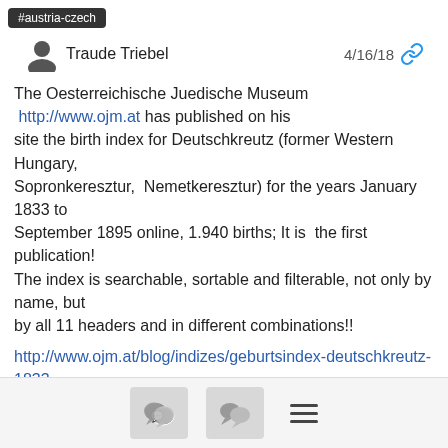#austria-czech
Traude Triebel  4/16/18
The Oesterreichische Juedische Museum http://www.ojm.at has published on his site the birth index for Deutschkreutz (former Western Hungary, Sopronkeresztur, Nemetkeresztur) for the years January 1833 to September 1895 online, 1.940 births; It is the first publication! The index is searchable, sortable and filterable, not only by name, but by all 11 headers and in different combinations!!
http://www.ojm.at/blog/indizes/geburtsindex-deutschkreutz-1833-1895/
the years 1834, 1853, 1855-1859, 1869 are missing